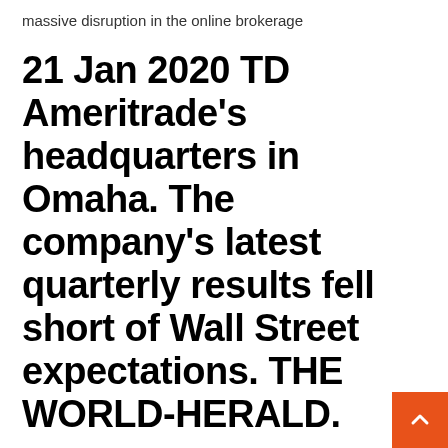massive disruption in the online brokerage
21 Jan 2020 TD Ameritrade's headquarters in Omaha. The company's latest quarterly results fell short of Wall Street expectations. THE WORLD-HERALD.
Baseball anyone? If you're able to go to Omaha in June this is the best park in the world to watch college baseball World Series. They are very good seats all around the park for a reasonable price and is also a general mission for about 15-20 bucks. Guests interested in organizing a party of 10 or for an event at TD Ameritrade Park Omaha will find many